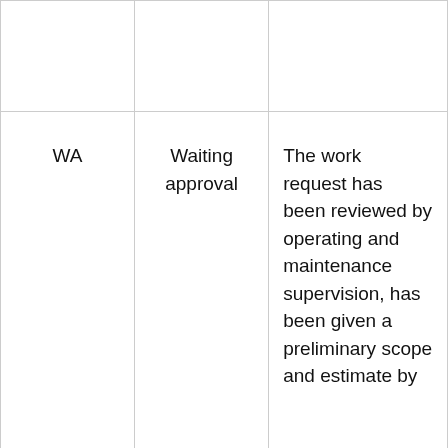|  |  |  |
| WA | Waiting approval | The work request has been reviewed by operating and maintenance supervision, has been given a preliminary scope and estimate by |